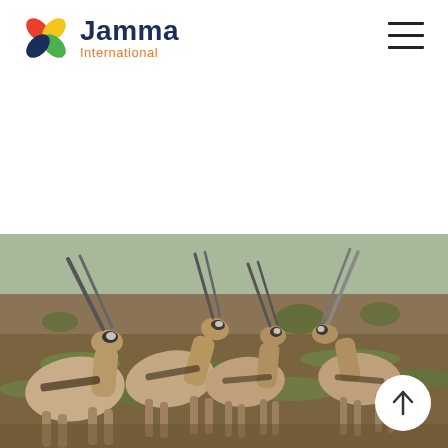[Figure (logo): Jamma International logo with colorful pinwheel/flower icon and dark blue 'Jamma' text with orange 'International' subtitle]
[Figure (other): Hamburger menu icon (three horizontal dark lines) in top right corner]
[Figure (photo): Photo of a group of gemsbok (oryx) antelopes with long pointed horns standing in a dry savanna grassland]
[Figure (other): Circular scroll-to-top button with upward arrow, white circle with orange quarter-circle accent]